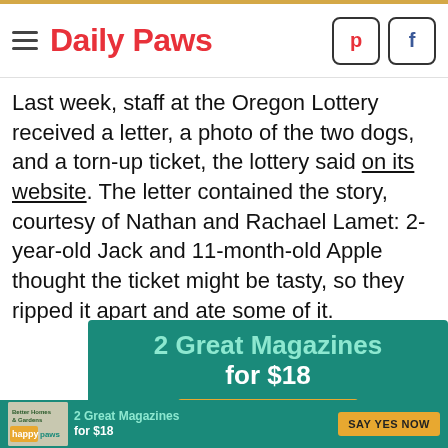Daily Paws
Last week, staff at the Oregon Lottery received a letter, a photo of the two dogs, and a torn-up ticket, the lottery said on its website. The letter contained the story, courtesy of Nathan and Rachael Lamet: 2-year-old Jack and 11-month-old Apple thought the ticket might be tasty, so they ripped it apart and ate some of it.
[Figure (infographic): Advertisement banner: 2 Great Magazines for $18 — SAY YES NOW button on teal background]
[Figure (infographic): Small advertisement banner: Better Homes & Gardens / Happy Paws — 2 Great Magazines for $18 — SAY YES NOW button on teal background]